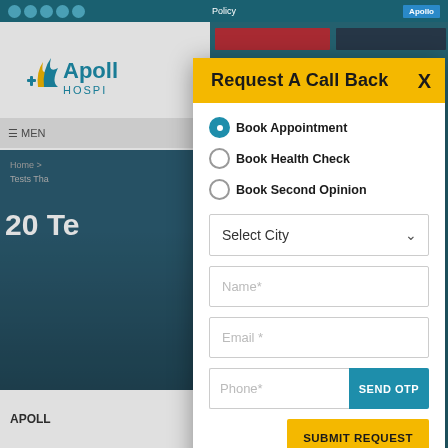Policy | Apollo
[Figure (screenshot): Apollo Hospitals website background showing logo, navigation menu, hero section with '20 Te...' text, and breadcrumb 'Home > Tests Tha...']
Request A Call Back
Book Appointment  Book Health Check  Book Second Opinion
Select City
Name*
Email*
Phone*
SEND OTP
SUBMIT REQUEST